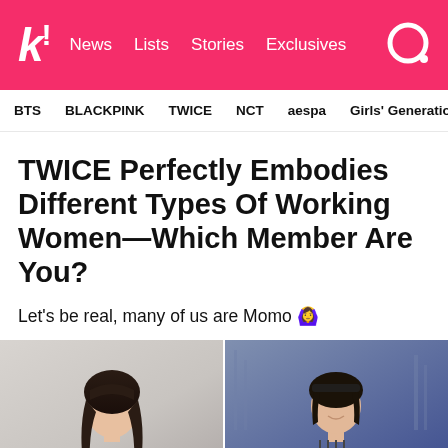k! News  Lists  Stories  Exclusives
BTS  BLACKPINK  TWICE  NCT  aespa  Girls' Generation
TWICE Perfectly Embodies Different Types Of Working Women—Which Member Are You?
Let's be real, many of us are Momo 🙆♀
[Figure (photo): Two photos side by side: left shows a woman with long dark hair in professional attire against a light background; right shows a woman smiling in a dark striped outfit against an urban background.]